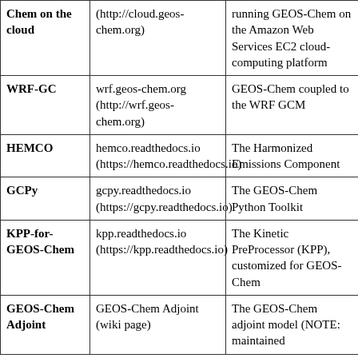| Chem on the cloud | (http://cloud.geos-chem.org) | running GEOS-Chem on the Amazon Web Services EC2 cloud-computing platform |
| WRF-GC | wrf.geos-chem.org (http://wrf.geos-chem.org) | GEOS-Chem coupled to the WRF GCM |
| HEMCO | hemco.readthedocs.io (https://hemco.readthedocs.io) | The Harmonized Emissions Component |
| GCPy | gcpy.readthedocs.io (https://gcpy.readthedocs.io) | The GEOS-Chem Python Toolkit |
| KPP-for-GEOS-Chem | kpp.readthedocs.io (https://kpp.readthedocs.io) | The Kinetic PreProcessor (KPP), customized for GEOS-Chem |
| GEOS-Chem Adjoint | GEOS-Chem Adjoint (wiki page) | The GEOS-Chem adjoint model (NOTE: maintained |